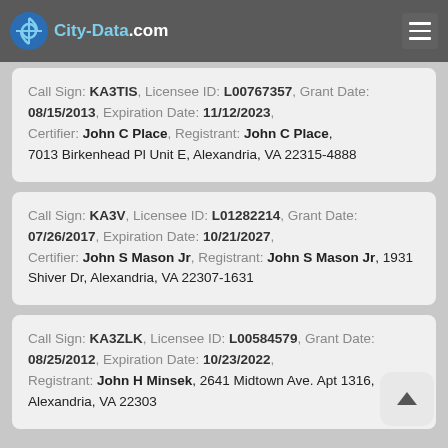City-Data.com
Call Sign: KA3TIS, Licensee ID: L00767357, Grant Date: 08/15/2013, Expiration Date: 11/12/2023, Certifier: John C Place, Registrant: John C Place, 7013 Birkenhead Pl Unit E, Alexandria, VA 22315-4888
Call Sign: KA3V, Licensee ID: L01282214, Grant Date: 07/26/2017, Expiration Date: 10/21/2027, Certifier: John S Mason Jr, Registrant: John S Mason Jr, 1931 Shiver Dr, Alexandria, VA 22307-1631
Call Sign: KA3ZLK, Licensee ID: L00584579, Grant Date: 08/25/2012, Expiration Date: 10/23/2022, Registrant: John H Minsek, 2641 Midtown Ave. Apt 1316, Alexandria, VA 22303